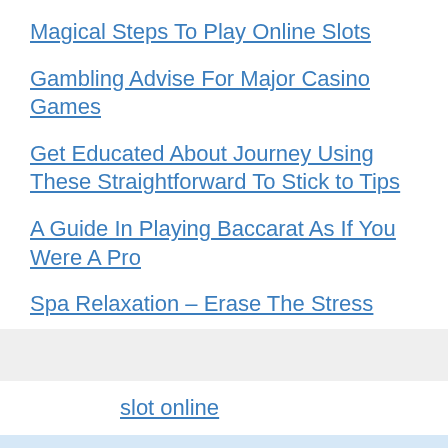Magical Steps To Play Online Slots
Gambling Advise For Major Casino Games
Get Educated About Journey Using These Straightforward To Stick to Tips
A Guide In Playing Baccarat As If You Were A Pro
Spa Relaxation – Erase The Stress
slot online
Recent Comments